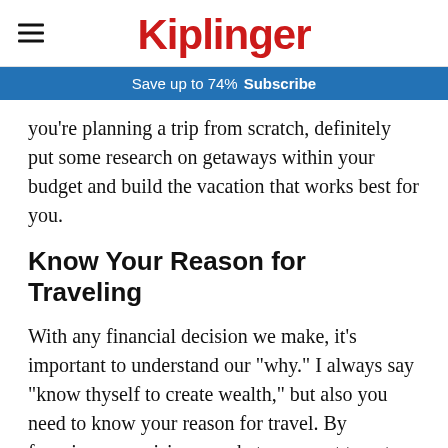Kiplinger
Save up to 74%  Subscribe
you're planning a trip from scratch, definitely put some research on getaways within your budget and build the vacation that works best for you.
Know Your Reason for Traveling
With any financial decision we make, it's important to understand our "why." I always say "know thyself to create wealth," but also you need to know your reason for travel. By focusing your vision on what you want to get out of your vacation, you can spend money where it matters and save money where it doesn't.